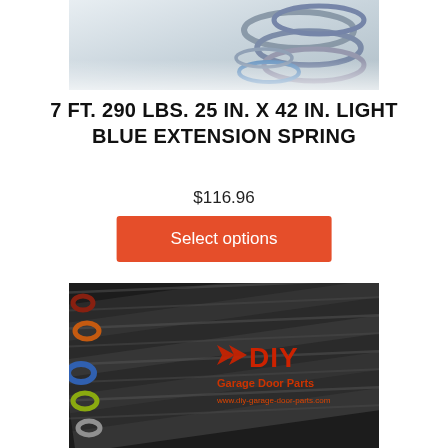[Figure (photo): Partial view of coiled extension springs with colorful end rings, cropped at top]
7 FT. 290 LBS. 25 IN. X 42 IN. LIGHT BLUE EXTENSION SPRING
$116.96
[Figure (screenshot): Button: Select options (red/orange background)]
[Figure (photo): Multiple dark coiled garage door extension springs with colored end rings (orange, blue, green, grey) arranged side by side, with DIY Garage Door Parts logo watermark]